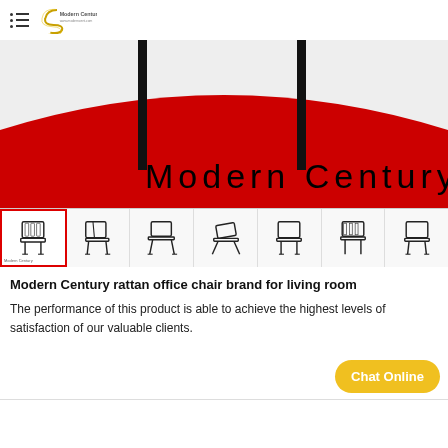Modern Century
[Figure (screenshot): Modern Century product hero image with red arc background, two black chair legs visible at top, and 'Modern Century' text in large letters on red background. Below is a thumbnail strip showing 7 different views of a rattan office chair.]
Modern Century rattan office chair brand for living room
The performance of this product is able to achieve the highest levels of satisfaction of our valuable clients.